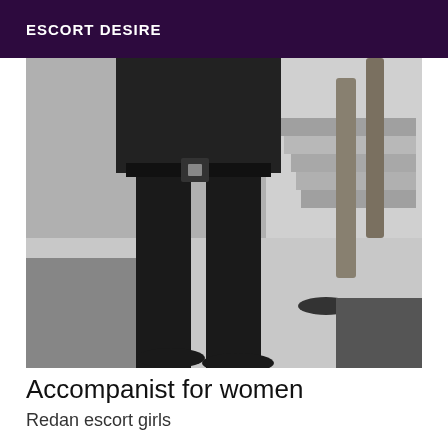ESCORT DESIRE
[Figure (photo): Black and white photo showing the lower body of a person dressed in dark trousers and a dark jacket with a belt, standing indoors near stairs and furniture.]
Accompanist for women
Redan escort girls